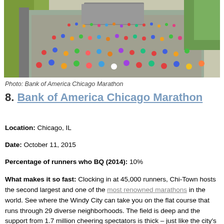[Figure (photo): Aerial view of thousands of marathon runners on a city road surrounded by autumn trees and urban infrastructure, Bank of America Chicago Marathon.]
Photo: Bank of America Chicago Marathon
8. Bank of America Chicago Marathon
Location: Chicago, IL
Date: October 11, 2015
Percentage of runners who BQ (2014): 10%
What makes it so fast: Clocking in at 45,000 runners, Chi-Town hosts the second largest and one of the most renowned marathons in the world. See where the Windy City can take you on the flat course that runs through 29 diverse neighborhoods. The field is deep and the support from 1.7 million cheering spectators is thick – just like the city's signature pizza.